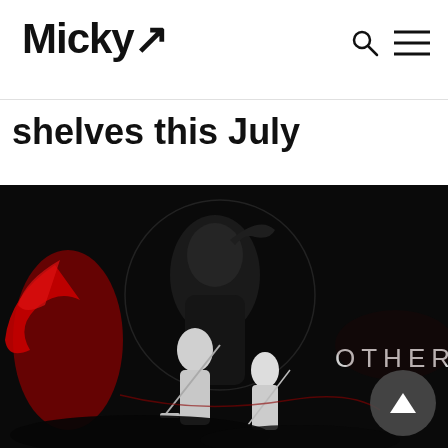Micky
shelves this July
[Figure (photo): Othercide video game promotional artwork showing dark fantasy characters — a red-haired figure on the left, a large shadowy creature in the center, and white armored warrior figures — against a dark background with the game logo 'OTHERCIDE' on the right side.]
Back to top button (triangle/arrow icon)